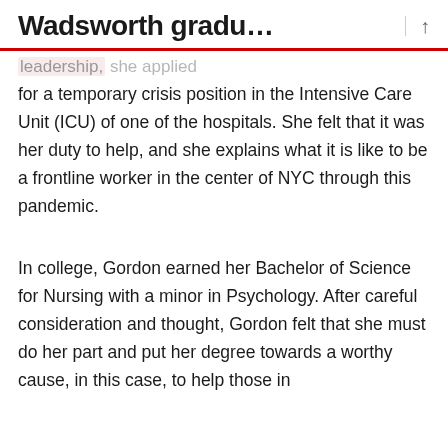Wadsworth gradu…
…leadership, she applied for a temporary crisis position in the Intensive Care Unit (ICU) of one of the hospitals. She felt that it was her duty to help, and she explains what it is like to be a frontline worker in the center of NYC through this pandemic.
In college, Gordon earned her Bachelor of Science for Nursing with a minor in Psychology. After careful consideration and thought, Gordon felt that she must do her part and put her degree towards a worthy cause, in this case, to help those in